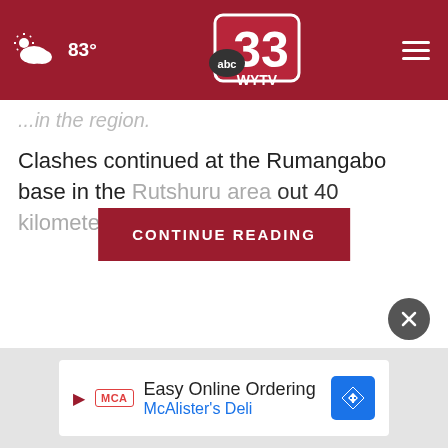83° abc 33 WYTV
...in the region.
Clashes continued at the Rumangabo base in the Rutshuru area ...out 40 kilometers (25... ...d capital
[Figure (screenshot): CONTINUE READING button overlay in dark red]
[Figure (other): Close button (X) in dark circle]
Easy Online Ordering McAlister's Deli